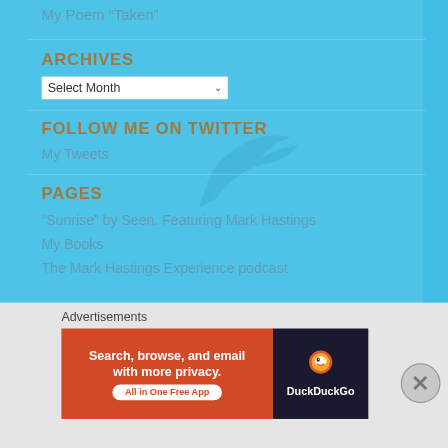My Poem “Taken”
ARCHIVES
Select Month
FOLLOW ME ON TWITTER
My Tweets
PAGES
“Sunrise” by Seen. Featuring Mark Hastings
My Books
The Mark Hastings Experience podcast
Advertisements
[Figure (screenshot): DuckDuckGo advertisement banner: orange section with text 'Search, browse, and email with more privacy. All in One Free App' and dark section with DuckDuckGo logo and text.]